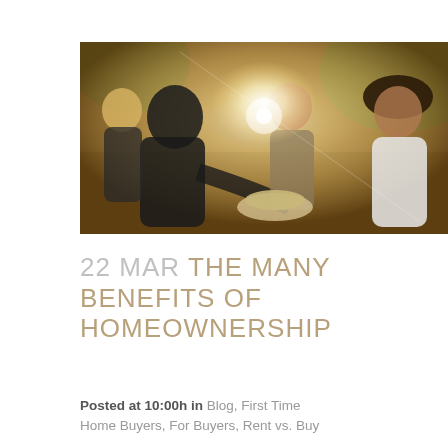[Figure (photo): Group of young adults gathered outdoors around a table in bright sunlight, one person in black leaning forward, others standing or sitting in warm backlit setting]
22 MAR THE MANY BENEFITS OF HOMEOWNERSHIP
Posted at 10:00h in Blog, First Time Home Buyers, For Buyers, Rent vs. Buy